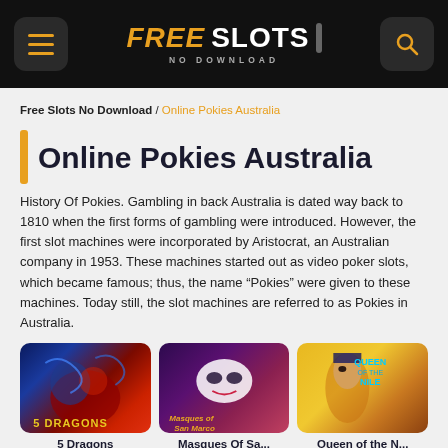FREE SLOTS NO DOWNLOAD
Free Slots No Download / Online Pokies Australia
Online Pokies Australia
History Of Pokies. Gambling in back Australia is dated way back to 1810 when the first forms of gambling were introduced. However, the first slot machines were incorporated by Aristocrat, an Australian company in 1953. These machines started out as video poker slots, which became famous; thus, the name “Pokies” were given to these machines. Today still, the slot machines are referred to as Pokies in Australia.
[Figure (illustration): 5 Dragons slot game thumbnail with dragon imagery on red and blue background]
5 Dragons
[Figure (illustration): Masques of San Marco slot game thumbnail with venetian mask imagery on purple background]
Masques Of Sa...
[Figure (illustration): Queen of the Nile slot game thumbnail with Egyptian queen and yellow background]
Queen of the N...